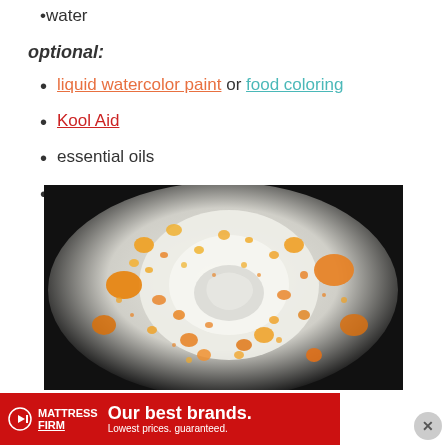water
optional:
liquid watercolor paint or food coloring
Kool Aid
essential oils
vinegar
[Figure (photo): Close-up photo of white powder (likely baking soda or cornstarch) with orange and yellow droplets scattered across it in a bowl]
[Figure (other): Advertisement banner for Mattress Firm: 'Our best brands. Lowest prices. guaranteed.']